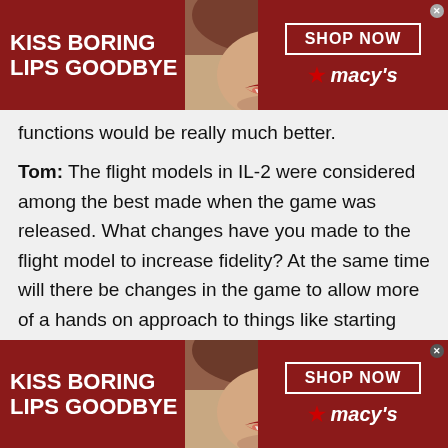[Figure (illustration): Macy's advertisement banner at top: dark red background with 'KISS BORING LIPS GOODBYE' text on left, woman's face with red lips in center, 'SHOP NOW' button and Macy's star logo on right]
functions would be really much better.
Tom: The flight models in IL-2 were considered among the best made when the game was released. What changes have you made to the flight model to increase fidelity? At the same time will there be changes in the game to allow more of a hands on approach to things like starting procedures?
[Figure (illustration): Macy's advertisement banner at bottom: dark red background with 'KISS BORING LIPS GOODBYE' text on left, woman's face with red lips in center, 'SHOP NOW' button and Macy's star logo on right]